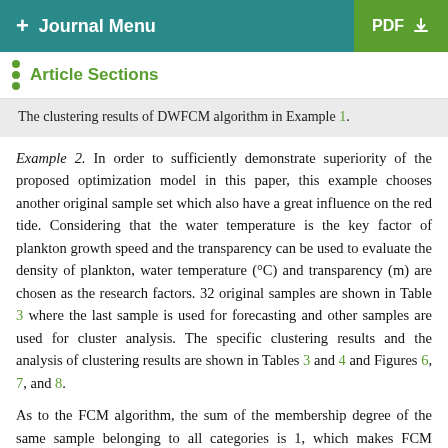+ Journal Menu   PDF ↓
Article Sections
The clustering results of DWFCM algorithm in Example 1.
Example 2. In order to sufficiently demonstrate superiority of the proposed optimization model in this paper, this example chooses another original sample set which also have a great influence on the red tide. Considering that the water temperature is the key factor of plankton growth speed and the transparency can be used to evaluate the density of plankton, water temperature (°C) and transparency (m) are chosen as the research factors. 32 original samples are shown in Table 3 where the last sample is used for forecasting and other samples are used for cluster analysis. The specific clustering results and the analysis of clustering results are shown in Tables 3 and 4 and Figures 6, 7, and 8.
As to the FCM algorithm, the sum of the membership degree of the same sample belonging to all categories is 1, which makes FCM algorithm sensitive to noise and outliers [30]. Figure 6